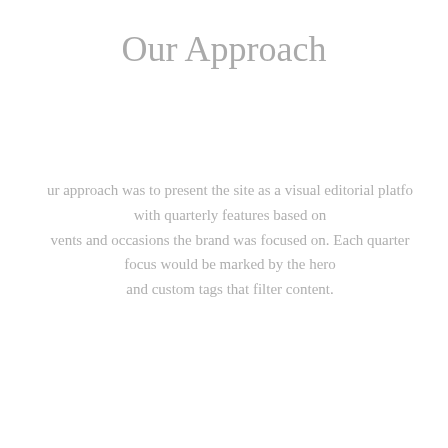Our Approach
ur approach was to present the site as a visual editorial platfo with quarterly features based on events and occasions the brand was focused on. Each quarter focus would be marked by the hero and custom tags that filter content.